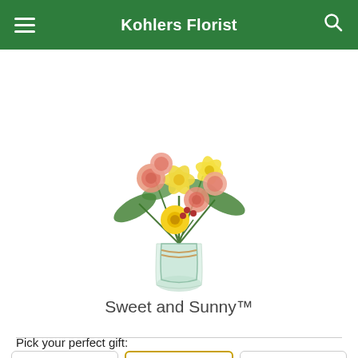Kohlers Florist
FREE* Same Day Delivery ends in: 03 : 55 : 28
[Figure (photo): Floral bouquet arrangement called Sweet and Sunny, featuring pink roses, yellow lilies, yellow gerbera daisies and greenery in a glass vase]
Sweet and Sunny™
Pick your perfect gift: